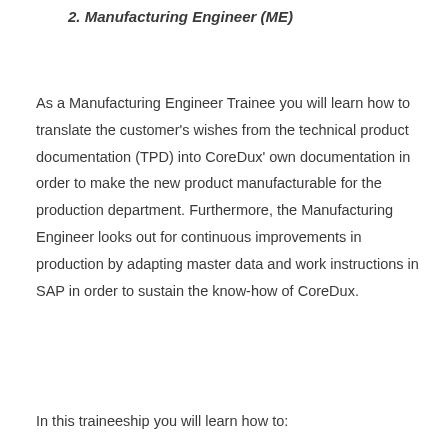2. Manufacturing Engineer (ME)
As a Manufacturing Engineer Trainee you will learn how to translate the customer's wishes from the technical product documentation (TPD) into CoreDux' own documentation in order to make the new product manufacturable for the production department. Furthermore, the Manufacturing Engineer looks out for continuous improvements in production by adapting master data and work instructions in SAP in order to sustain the know-how of CoreDux.
In this traineeship you will learn how to: